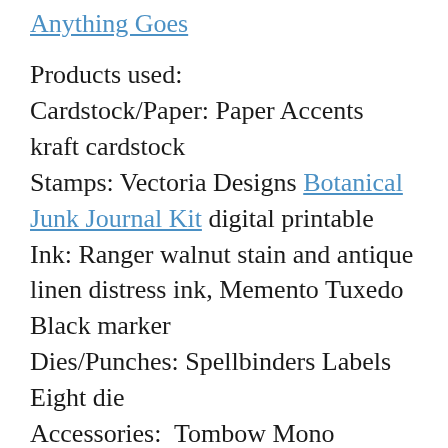Anything Goes
Products used:
Cardstock/Paper: Paper Accents kraft cardstock
Stamps: Vectoria Designs Botanical Junk Journal Kit digital printable
Ink: Ranger walnut stain and antique linen distress ink, Memento Tuxedo Black marker
Dies/Punches: Spellbinders Labels Eight die
Accessories:  Tombow Mono permanent adhesive, Carpe Diem Washi Tape, Canvas Corp jute cord, Canvas Corp paper lace, Darice gold glitter alpha stickers, Wild Orchid Crafts paper flower, ScraPerfect Best Glue Ever; The Funkie Junkie Boutique corner filigree metal pieces, small metal key, and discover and camera charms; Flourish With A Bling gold flat-back